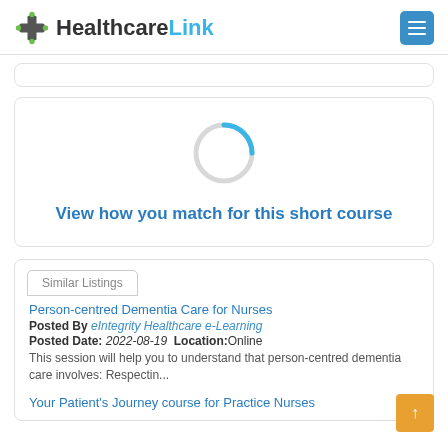HealthcareLink
[Figure (infographic): Loading spinner circle with blue arc, indicating a loading state]
View how you match for this short course
Similar Listings
Person-centred Dementia Care for Nurses
Posted By eIntegrity Healthcare e-Learning
Posted Date: 2022-08-19  Location:Online
This session will help you to understand that person-centred dementia care involves: Respectin...
Your Patient's Journey course for Practice Nurses